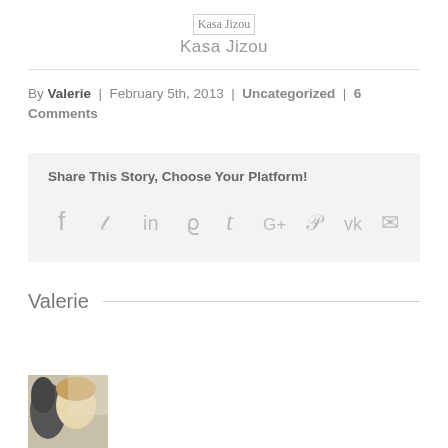Kasa Jizou
By Valerie | February 5th, 2013 | Uncategorized | 6 Comments
Share This Story, Choose Your Platform!
[Figure (illustration): Social share icons: Facebook, Twitter, LinkedIn, Reddit, Tumblr, Google+, Pinterest, VK, Email]
Valerie
[Figure (photo): Author photo of Valerie, showing a woman's face close to a horse]